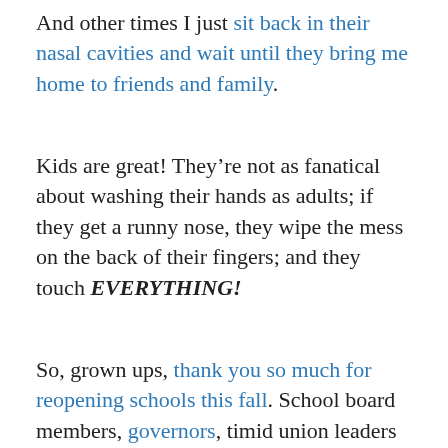And other times I just sit back in their nasal cavities and wait until they bring me home to friends and family.
Kids are great! They’re not as fanatical about washing their hands as adults; if they get a runny nose, they wipe the mess on the back of their fingers; and they touch EVERYTHING!
So, grown ups, thank you so much for reopening schools this fall. School board members, governors, timid union leaders afraid to speak up, I could not have done it better, myself!